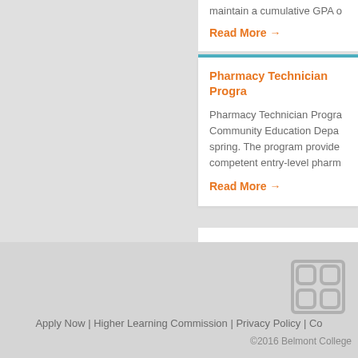maintain a cumulative GPA o
Read More →
Pharmacy Technician Progra
Pharmacy Technician Progra Community Education Depa spring. The program provide competent entry-level pharm
Read More →
[Figure (logo): Belmont College logo — grid of rounded squares in light gray]
Apply Now | Higher Learning Commission | Privacy Policy | Co
©2016 Belmont College